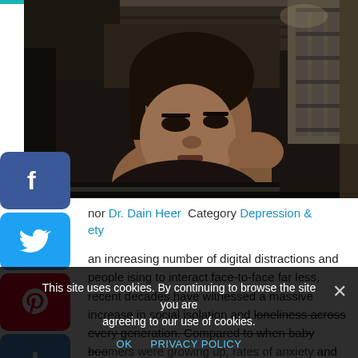[Figure (photo): Young man resting his head on his hand, looking downward with a pensive/sad expression, sitting near a window or door frame. Dark, moody lighting.]
Author Dr. Dain Heer  Category Depression & Anxiety
...an increasing number of digital distractions and people choosing to interact face-to-face far less, recent decades have witnessed a massive increase in social isolation and loneliness across every generation. Compared to when baby boomers were growing up, rates of anxiety and depression…Read more
This site uses cookies. By continuing to browse the site you are agreeing to our use of cookies.
OK  PRIVACY POLICY